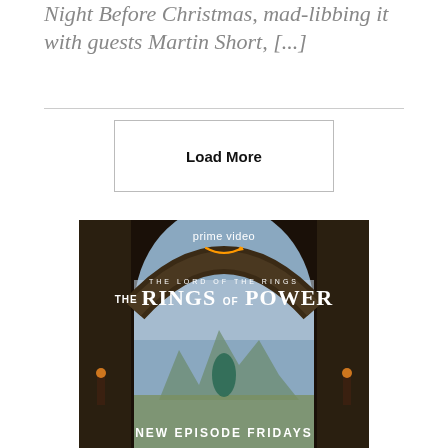Night Before Christmas, mad-libbing it with guests Martin Short, [...]
Load More
[Figure (photo): Amazon Prime Video advertisement for 'The Lord of the Rings: The Rings of Power'. Shows a figure in a teal dress standing under a large stone arch with a fantasy landscape behind. Text reads: prime video, THE LORD OF THE RINGS, THE RINGS OF POWER, NEW EPISODE FRIDAYS.]